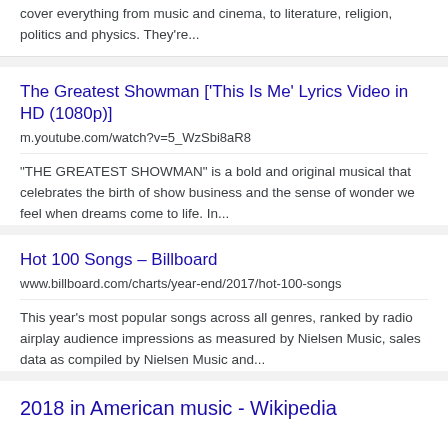cover everything from music and cinema, to literature, religion, politics and physics. They're...
The Greatest Showman ['This Is Me' Lyrics Video in HD (1080p)]
m.youtube.com/watch?v=5_WzSbi8aR8
"THE GREATEST SHOWMAN" is a bold and original musical that celebrates the birth of show business and the sense of wonder we feel when dreams come to life. In...
Hot 100 Songs – Billboard
www.billboard.com/charts/year-end/2017/hot-100-songs
This year's most popular songs across all genres, ranked by radio airplay audience impressions as measured by Nielsen Music, sales data as compiled by Nielsen Music and...
2018 in American music - Wikipedia